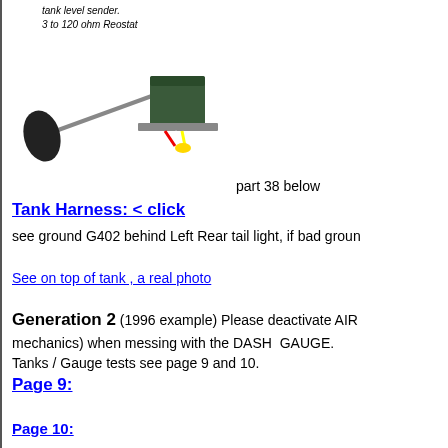tank level sender.
3 to 120 ohm Reostat
[Figure (photo): Photo of a fuel tank level sender unit (float arm with float and rheostat/sender body with wiring connector), labeled as part 38 below]
Tank Harness: < click
see ground G402 behind Left Rear tail light, if bad groun
See on top of tank , a real photo
Generation 2  (1996 example)  Please deactivate AIR mechanics) when messing with the DASH  GAUGE. Tanks / Gauge tests see page 9 and 10.
Page 9:
Page 10: